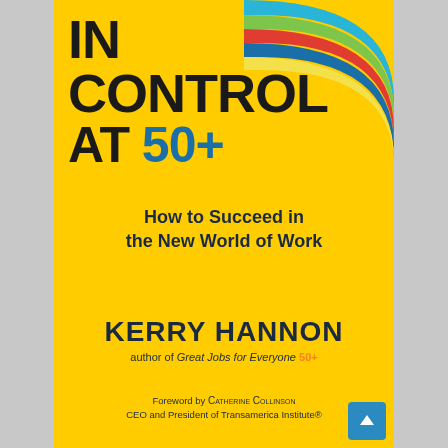[Figure (illustration): Book cover of 'In Control at 50+: How to Succeed in the New World of Work' by Kerry Hannon, with yellow background and colorful curved stripes in top right corner]
IN CONTROL AT 50+
How to Succeed in the New World of Work
KERRY HANNON
author of Great Jobs for Everyone 50+
Foreword by CATHERINE COLLINSON
CEO and President of Transamerica Institute®